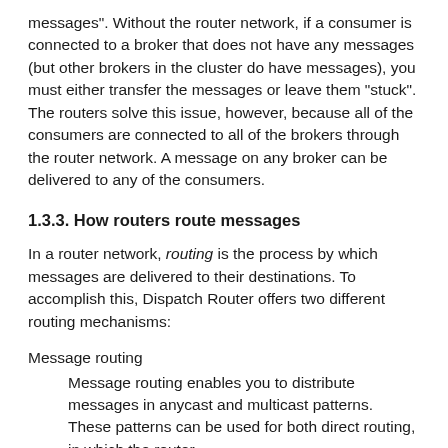messages". Without the router network, if a consumer is connected to a broker that does not have any messages (but other brokers in the cluster do have messages), you must either transfer the messages or leave them "stuck". The routers solve this issue, however, because all of the consumers are connected to all of the brokers through the router network. A message on any broker can be delivered to any of the consumers.
1.3.3. How routers route messages
In a router network, routing is the process by which messages are delivered to their destinations. To accomplish this, Dispatch Router offers two different routing mechanisms:
Message routing
Message routing enables you to distribute messages in anycast and multicast patterns. These patterns can be used for both direct routing, in which the router